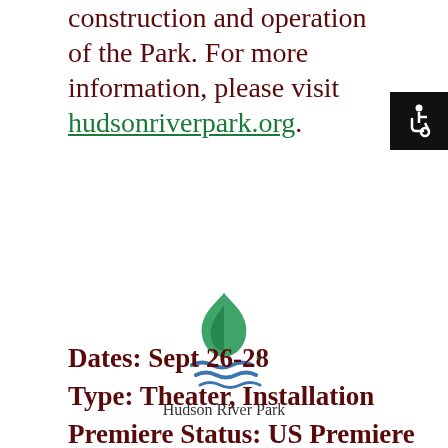construction and operation of the Park. For more information, please visit hudsonriverpark.org.
[Figure (logo): Hudson River Park logo — stylized green leaf/flame above blue wave lines, with text 'Hudson River Park' below]
Dates: Sept 26-28
Type: Theater, Installation
Premiere Status: US Premiere